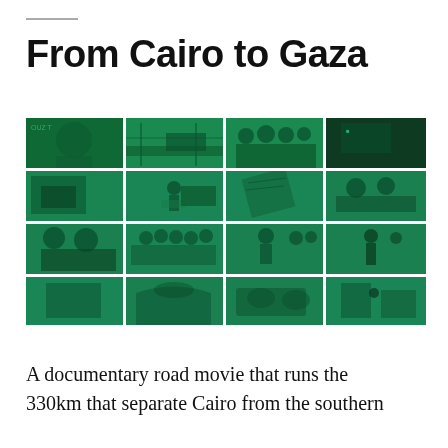From Cairo to Gaza
[Figure (photo): A 4x4 grid of green-tinted documentary film stills showing various scenes from a road journey between Cairo and Gaza, including people, vehicles, roads, and border areas.]
A documentary road movie that runs the 330km that separate Cairo from the southern